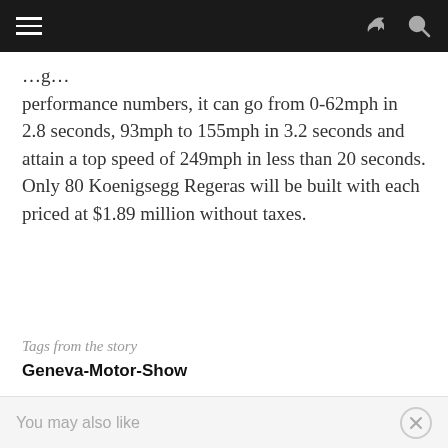Navigation bar with hamburger menu, share icon, and search icon
performance numbers, it can go from 0-62mph in 2.8 seconds, 93mph to 155mph in 3.2 seconds and attain a top speed of 249mph in less than 20 seconds. Only 80 Koenigsegg Regeras will be built with each priced at $1.89 million without taxes.
Tags from the story
Geneva-Motor-Show
You may also like